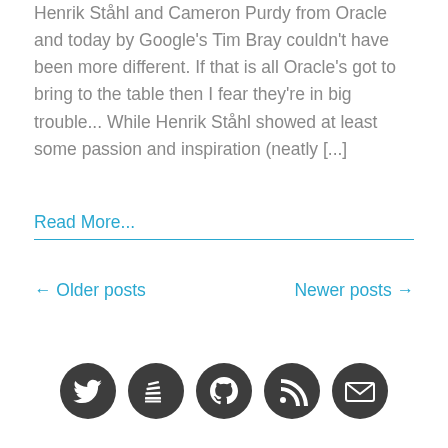Henrik Ståhl and Cameron Purdy from Oracle and today by Google's Tim Bray couldn't have been more different. If that is all Oracle's got to bring to the table then I fear they're in big trouble... While Henrik Ståhl showed at least some passion and inspiration (neatly [...]
Read More...
← Older posts
Newer posts →
[Figure (illustration): Five dark circular social media icons in a row: Twitter bird, Stack Overflow/newsletter, GitHub, RSS feed, and Email/envelope icons]